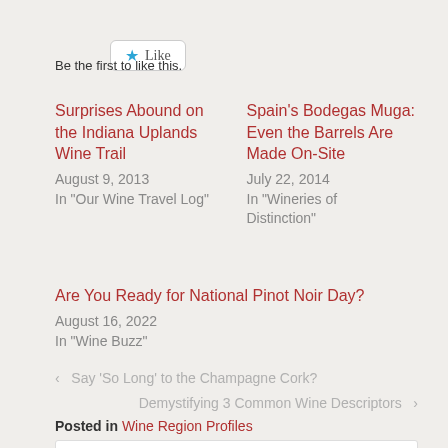[Figure (other): Like button with star icon]
Be the first to like this.
Surprises Abound on the Indiana Uplands Wine Trail
August 9, 2013
In "Our Wine Travel Log"
Spain's Bodegas Muga: Even the Barrels Are Made On-Site
July 22, 2014
In "Wineries of Distinction"
Are You Ready for National Pinot Noir Day?
August 16, 2022
In "Wine Buzz"
‹ Say 'So Long' to the Champagne Cork?
Demystifying 3 Common Wine Descriptors ›
Posted in Wine Region Profiles